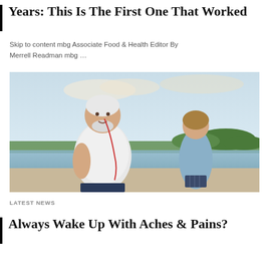Years: This Is The First One That Worked
Skip to content mbg Associate Food & Health Editor By Merrell Readman mbg …
[Figure (photo): An older man with white beard jogging outdoors near a lake with earphones, wearing a white polo shirt. A younger woman in athletic wear runs behind him. Background shows trees and a pale blue sky.]
LATEST NEWS
Always Wake Up With Aches & Pains?